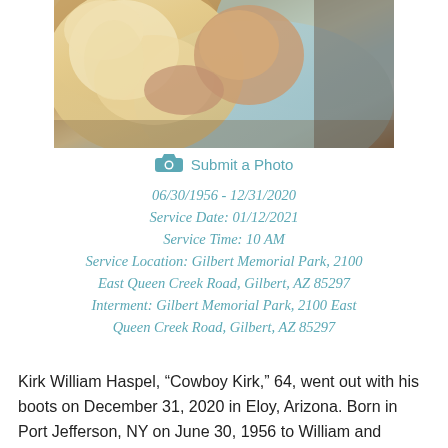[Figure (photo): A man in a light blue shirt holding and nuzzling a fluffy light-colored dog, warm candid photo]
Submit a Photo
06/30/1956 - 12/31/2020
Service Date: 01/12/2021
Service Time: 10 AM
Service Location: Gilbert Memorial Park, 2100 East Queen Creek Road, Gilbert, AZ 85297
Interment: Gilbert Memorial Park, 2100 East Queen Creek Road, Gilbert, AZ 85297
Kirk William Haspel, “Cowboy Kirk,” 64, went out with his boots on December 31, 2020 in Eloy, Arizona. Born in Port Jefferson, NY on June 30, 1956 to William and Margaret Haspel, Kirk